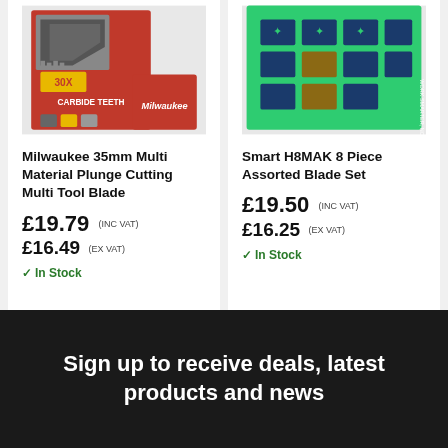[Figure (photo): Milwaukee 35mm Multi Material Plunge Cutting Multi Tool Blade product image showing red packaging with carbide teeth blade and Milwaukee logo]
Milwaukee 35mm Multi Material Plunge Cutting Multi Tool Blade
£19.79 (INC VAT)
£16.49 (EX VAT)
✓ In Stock
[Figure (photo): Smart H8MAK 8 Piece Assorted Blade Set product image showing green packaging with multiple blade pieces]
Smart H8MAK 8 Piece Assorted Blade Set
£19.50 (INC VAT)
£16.25 (EX VAT)
✓ In Stock
Sign up to receive deals, latest products and news
Name
Email